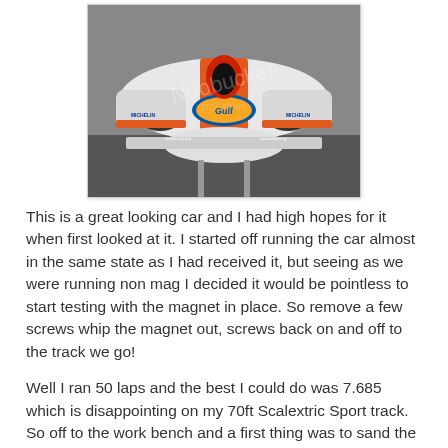[Figure (photo): Front view of a Gulf-liveried white and orange Le Mans prototype slot car (Audi R10 or similar), photographed on a slot car track. The car features Gulf branding on the nose, Michelin logos, and red cockpit surround. Watermark overlay visible.]
This is a great looking car and I had high hopes for it when first looked at it. I started off running the car almost in the same state as I had received it, but seeing as we were running non mag I decided it would be pointless to start testing with the magnet in place. So remove a few screws whip the magnet out, screws back on and off to the track we go!
Well I ran 50 laps and the best I could do was 7.685 which is disappointing on my 70ft Scalextric Sport track. So off to the work bench and a first thing was to sand the rear tyres as they were rather concave as you can see from the picture even with light sanding the tyres were rather concave